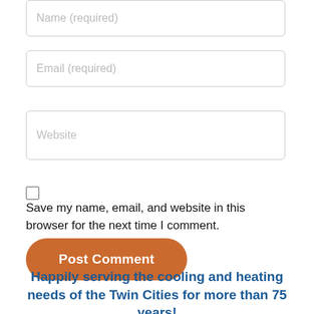[Figure (screenshot): Form field placeholder: Name (required)]
[Figure (screenshot): Form field placeholder: Email (required)]
[Figure (screenshot): Form field placeholder: Website]
Save my name, email, and website in this browser for the next time I comment.
[Figure (screenshot): Orange rounded button labeled Post Comment]
Happily serving the cooling and heating needs of the Twin Cities for more than 75 years!